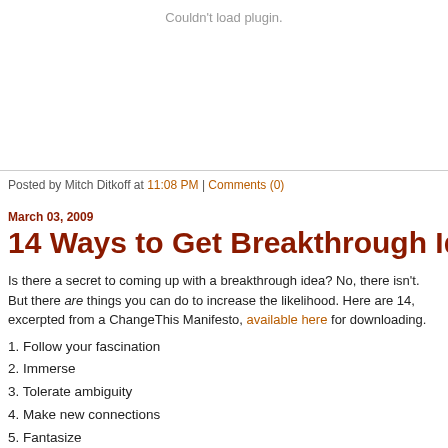[Figure (other): Plugin placeholder area showing 'Couldn't load plugin.' message in gray text]
Posted by Mitch Ditkoff at 11:08 PM | Comments (0)
March 03, 2009
14 Ways to Get Breakthrough Id…
Is there a secret to coming up with a breakthrough idea? No, there isn't. But there are things you can do to increase the likelihood. Here are 14, excerpted from a ChangeThis Manifesto, available here for downloading.
1. Follow your fascination
2. Immerse
3. Tolerate ambiguity
4. Make new connections
5. Fantasize
6. Define the right challenge
7. …